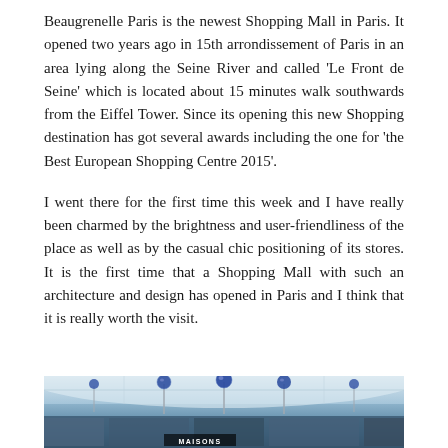Beaugrenelle Paris is the newest Shopping Mall in Paris. It opened two years ago in 15th arrondissement of Paris in an area lying along the Seine River and called 'Le Front de Seine' which is located about 15 minutes walk southwards from the Eiffel Tower. Since its opening this new Shopping destination has got several awards including the one for 'the Best European Shopping Centre 2015'.
I went there for the first time this week and I have really been charmed by the brightness and user-friendliness of the place as well as by the casual chic positioning of its stores. It is the first time that a Shopping Mall with such an architecture and design has opened in Paris and I think that it is really worth the visit.
[Figure (photo): Interior photo of Beaugrenelle Paris shopping mall showing ceiling architecture with blue spherical decorations and a MAISONS sign visible at the bottom]